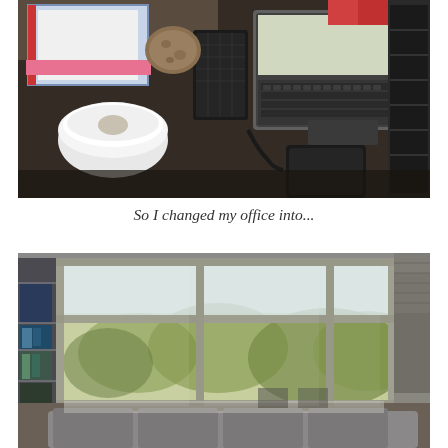[Figure (photo): Overhead/angled view of a desk with a laptop, notebooks/binders, a white bowl, a round decorative object, and various office items on a dark surface.]
So I changed my office into...
[Figure (photo): Interior room photo showing large floor-to-ceiling windows/glass doors looking out onto a balcony and trees with early spring foliage. Bookshelves visible on the left, sofa/chairs in the foreground.]